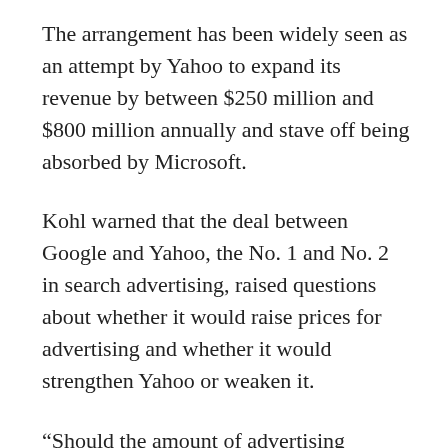The arrangement has been widely seen as an attempt by Yahoo to expand its revenue by between $250 million and $800 million annually and stave off being absorbed by Microsoft.
Kohl warned that the deal between Google and Yahoo, the No. 1 and No. 2 in search advertising, raised questions about whether it would raise prices for advertising and whether it would strengthen Yahoo or weaken it.
“Should the amount of advertising outsourced by Yahoo to Google grow significantly, we believe the threat to competition will also increase,” Kohl wrote in the letter dated Oct 2.